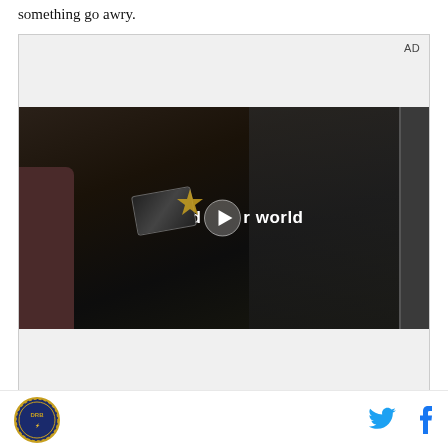something go awry.
[Figure (screenshot): Advertisement banner with a video thumbnail showing a woman holding a Samsung foldable phone in a car, with text 'Unfold your world' and a play button overlay. Labeled 'AD' in top right corner.]
[Figure (logo): Circular DRB logo badge in bottom left]
[Figure (infographic): Twitter bird icon and Facebook f icon in bottom right as social sharing buttons]